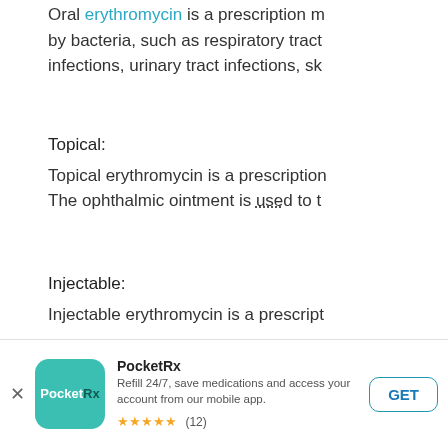Oral erythromycin is a prescription medication used to treat infections caused by bacteria, such as respiratory tract infections, urinary tract infections, sk...
Topical:
Topical erythromycin is a prescription medication. The ophthalmic ointment is used to t...
Injectable:
Injectable erythromycin is a prescript...
[Figure (other): PocketRx app advertisement banner with teal icon, app name, description, star rating of 5 stars (12 reviews), and GET button]